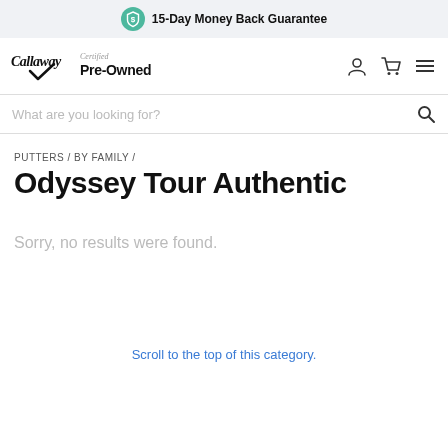15-Day Money Back Guarantee
[Figure (screenshot): Callaway Certified Pre-Owned navigation bar with user, cart, and menu icons]
What are you looking for?
PUTTERS / BY FAMILY /
Odyssey Tour Authentic
Sorry, no results were found.
Scroll to the top of this category.